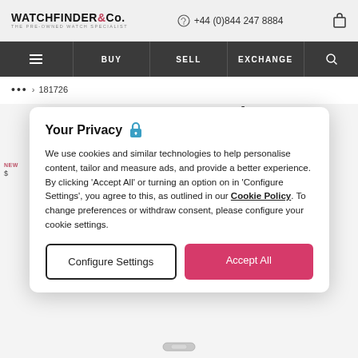WATCHFINDER & Co. THE PRE-OWNED WATCH SPECIALIST | +44 (0)844 247 8884
BUY | SELL | EXCHANGE
... > 181726
Baume et Mercier
Promesse
MOA10160
Your Privacy
We use cookies and similar technologies to help personalise content, tailor and measure ads, and provide a better experience. By clicking 'Accept All' or turning an option on in 'Configure Settings', you agree to this, as outlined in our Cookie Policy. To change preferences or withdraw consent, please configure your cookie settings.
Configure Settings | Accept All